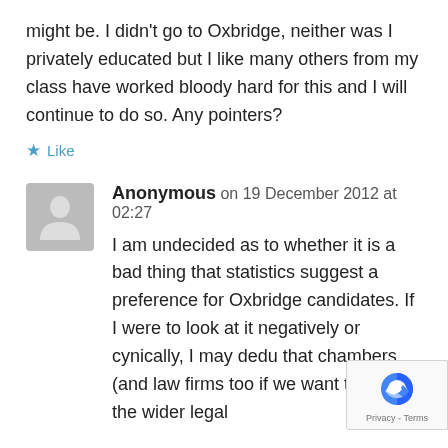might be. I didn't go to Oxbridge, neither was I privately educated but I like many others from my class have worked bloody hard for this and I will continue to do so. Any pointers?
★ Like
Anonymous on 19 December 2012 at 02:27
I am undecided as to whether it is a bad thing that statistics suggest a preference for Oxbridge candidates. If I were to look at it negatively or cynically, I may dedu that chambers (and law firms too if we want to look at the wider legal